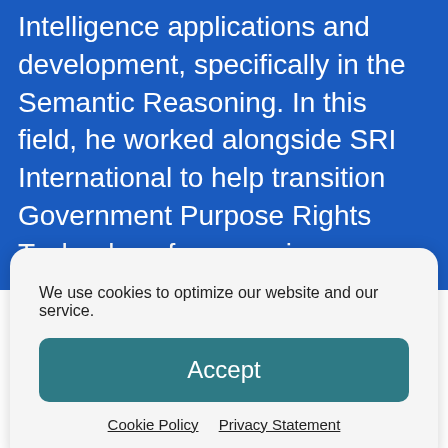Intelligence applications and development, specifically in the Semantic Reasoning. In this field, he worked alongside SRI International to help transition Government Purpose Rights Technology from previous DARPA efforts into new government applications. Starting in 2019, he transitioned into the position of Lead DevSecOps Engineer for all projects which the DNA Innovation Team currently support. In this role he has continually partnered with industry
We use cookies to optimize our website and our service.
Accept
Cookie Policy   Privacy Statement